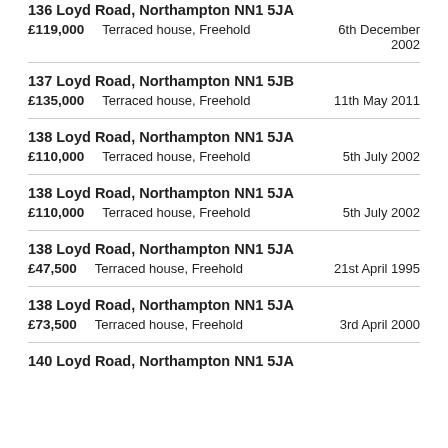136 Loyd Road, Northampton NN1 5JA | £119,000 | Terraced house, Freehold | 6th December 2002
137 Loyd Road, Northampton NN1 5JB | £135,000 | Terraced house, Freehold | 11th May 2011
138 Loyd Road, Northampton NN1 5JA | £110,000 | Terraced house, Freehold | 5th July 2002
138 Loyd Road, Northampton NN1 5JA | £110,000 | Terraced house, Freehold | 5th July 2002
138 Loyd Road, Northampton NN1 5JA | £47,500 | Terraced house, Freehold | 21st April 1995
138 Loyd Road, Northampton NN1 5JA | £73,500 | Terraced house, Freehold | 3rd April 2000
140 Loyd Road, Northampton NN1 5JA